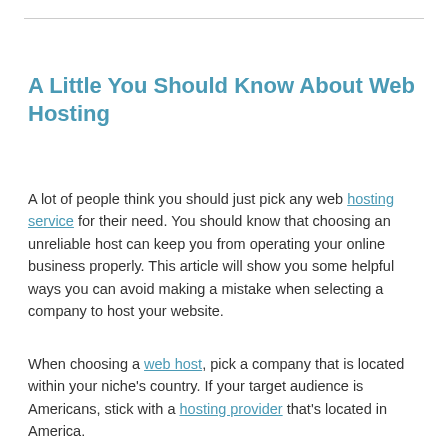A Little You Should Know About Web Hosting
A lot of people think you should just pick any web hosting service for their need. You should know that choosing an unreliable host can keep you from operating your online business properly. This article will show you some helpful ways you can avoid making a mistake when selecting a company to host your website.
When choosing a web host, pick a company that is located within your niche's country. If your target audience is Americans, stick with a hosting provider that's located in America.